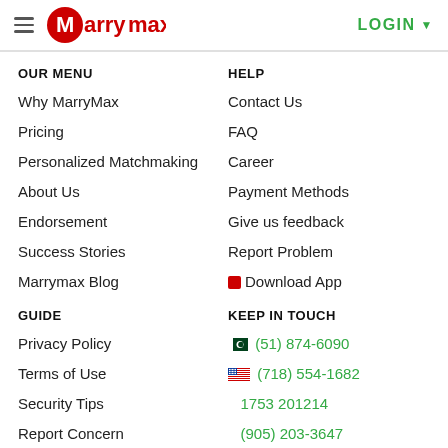MarryMax — LOGIN
OUR MENU
Why MarryMax
Pricing
Personalized Matchmaking
About Us
Endorsement
Success Stories
Marrymax Blog
HELP
Contact Us
FAQ
Career
Payment Methods
Give us feedback
Report Problem
Download App
GUIDE
Privacy Policy
Terms of Use
Security Tips
Report Concern
Profile Guideline
KEEP IN TOUCH
(51) 874-6090
(718) 554-1682
1753 201214
(905) 203-3647